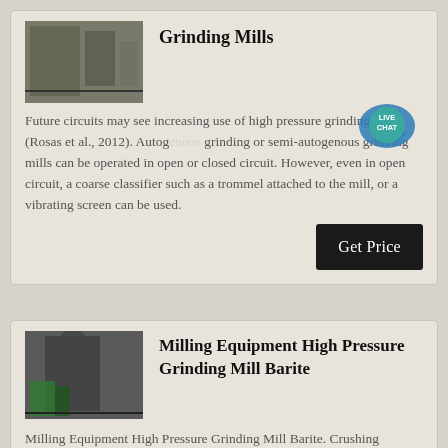Grinding Mills
[Figure (photo): Industrial grinding mill equipment, outdoor photo]
Future circuits may see increasing use of high pressure grinding rolls (Rosas et al., 2012). Autogenous grinding or semi-autogenous grinding mills can be operated in open or closed circuit. However, even in open circuit, a coarse classifier such as a trommel attached to the mill, or a vibrating screen can be used.
Milling Equipment High Pressure Grinding Mill Barite
[Figure (photo): Industrial milling equipment high pressure grinding mill with green machinery visible]
Milling Equipment High Pressure Grinding Mill Barite. Crushing equipment and grinding equipment are commonly used processing equipment in the mining industry